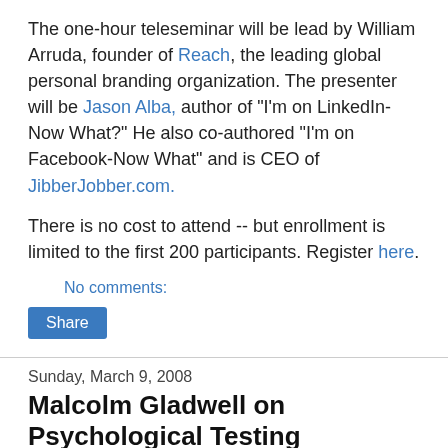The one-hour teleseminar will be lead by William Arruda, founder of Reach, the leading global personal branding organization. The presenter will be Jason Alba, author of "I'm on LinkedIn- Now What?" He also co-authored "I'm on Facebook-Now What" and is CEO of JibberJobber.com.
There is no cost to attend -- but enrollment is limited to the first 200 participants. Register here.
No comments:
Share
Sunday, March 9, 2008
Malcolm Gladwell on Psychological Testing
I came across an article on author Malcolm Gladwell ("Blink" and "The Tipping Point") that led me to his online archive of articles from The New Yorker magazine. There I found an interesting article on employment testing -- specifically, the